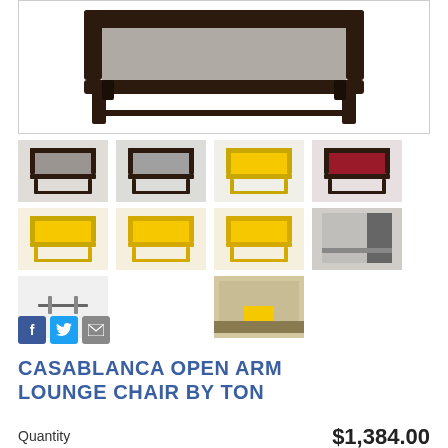[Figure (photo): Main product photo of Casablanca Open Arm Lounge Chair by Ton — dark wood frame chair with grey upholstery, close-up view from above/front angle]
[Figure (photo): Grid of 9 thumbnail product photos showing the Casablanca chair in various colors (grey, yellow, red/crimson) and angles]
[Figure (other): Social sharing icons: Facebook (blue), Twitter (blue bird), Email (grey envelope)]
CASABLANCA OPEN ARM LOUNGE CHAIR BY TON
Quantity
$1,384.00